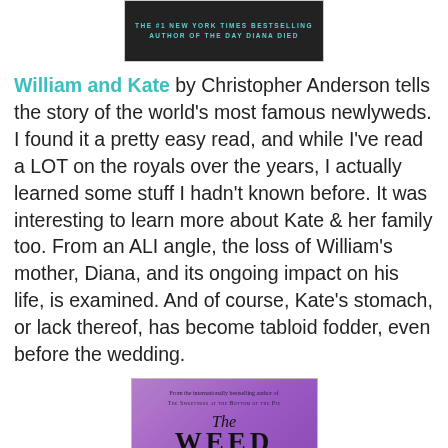[Figure (photo): Top portion of a book cover with dark background and teal text reading 'THE #1 NEW YORK TIMES BESTSELLING AUTHOR OF THE DAY DIANA DIED']
William and Kate by Christopher Anderson tells the story of the world's most famous newlyweds. I found it a pretty easy read, and while I've read a LOT on the royals over the years, I actually learned some stuff I hadn't known before. It was interesting to learn more about Kate & her family too. From an ALI angle, the loss of William's mother, Diana, and its ongoing impact on his life, is examined. And of course, Kate's stomach, or lack thereof, has become tabloid fodder, even before the wedding.
[Figure (photo): Book cover for 'The Weed That Strings the Hangman's Bag' with purple background, skeleton puppet and butterfly illustration]